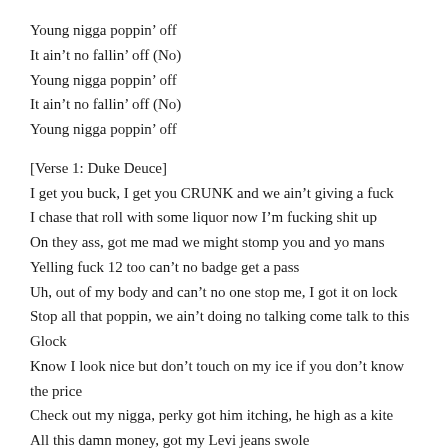Young nigga poppin’ off
It ain’t no fallin’ off (No)
Young nigga poppin’ off
It ain’t no fallin’ off (No)
Young nigga poppin’ off
[Verse 1: Duke Deuce]
I get you buck, I get you CRUNK and we ain’t giving a fuck
I chase that roll with some liquor now I’m fucking shit up
On they ass, got me mad we might stomp you and yo mans
Yelling fuck 12 too can’t no badge get a pass
Uh, out of my body and can’t no one stop me, I got it on lock
Stop all that poppin, we ain’t doing no talking come talk to this Glock
Know I look nice but don’t touch on my ice if you don’t know the price
Check out my nigga, perky got him itching, he high as a kite
All this damn money, got my Levi jeans swole
Come here baby I just want your mind, body, soul